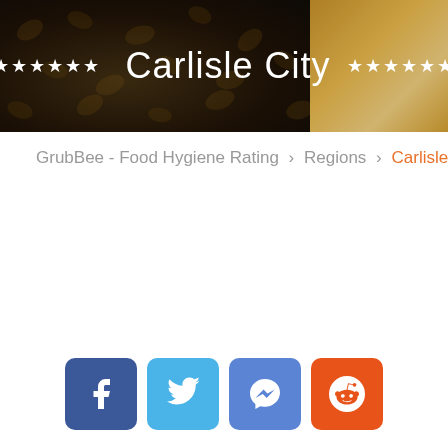[Figure (illustration): Dark header banner with coffee beans texture on the left, golden coffee cup on the right, white stars flanking the title 'Carlisle City' in white text]
★★★★★★★★★  Carlisle City  ★★★★★★★★★
GrubBee - Food Hygiene Rating > Regions > Carlisle City
[Figure (illustration): Social sharing buttons: Facebook (dark blue), Twitter (light blue), Messenger (medium blue), Reddit (orange)]